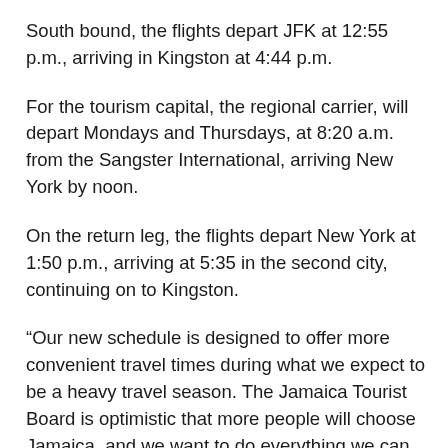South bound, the flights depart JFK at 12:55 p.m., arriving in Kingston at 4:44 p.m.
For the tourism capital, the regional carrier, will depart Mondays and Thursdays, at 8:20 a.m. from the Sangster International, arriving New York by noon.
On the return leg, the flights depart New York at 1:50 p.m., arriving at 5:35 in the second city, continuing on to Kingston.
“Our new schedule is designed to offer more convenient travel times during what we expect to be a heavy travel season. The Jamaica Tourist Board is optimistic that more people will choose Jamaica, and we want to do everything we can to make it easier for them to do so,” said Clive Forbes, Caribbean Airlines Jamaica, general manager.
Forbes also announced an increase in flights between Kingston and Fort Lauderdale, a response to the Jamaican travel style specific to this route. “We know that the strong business and family connections necessitate day trips